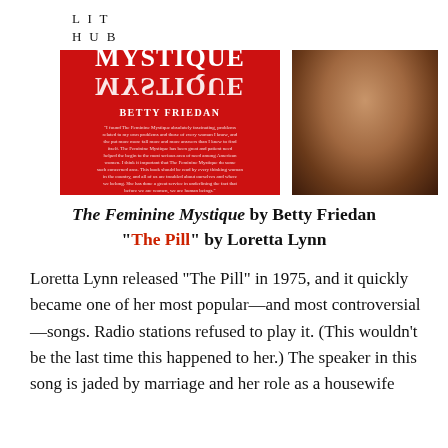LIT HUB
[Figure (photo): Book cover of The Feminine Mystique by Betty Friedan (red cover) next to a photo of a woman with dark curly hair holding pink flowers]
The Feminine Mystique by Betty Friedan "The Pill" by Loretta Lynn
Loretta Lynn released “The Pill” in 1975, and it quickly became one of her most popular—and most controversial—songs. Radio stations refused to play it. (This wouldn’t be the last time this happened to her.) The speaker in this song is jaded by marriage and her role as a housewife